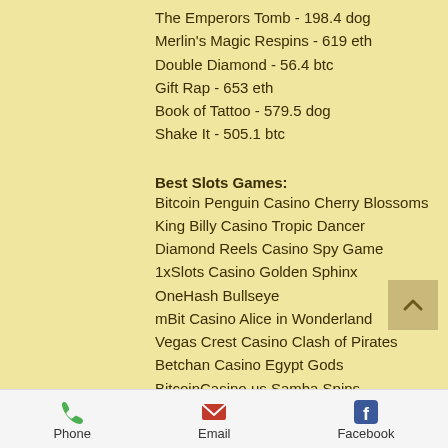The Emperors Tomb - 198.4 dog
Merlin's Magic Respins - 619 eth
Double Diamond - 56.4 btc
Gift Rap - 653 eth
Book of Tattoo - 579.5 dog
Shake It - 505.1 btc
Best Slots Games:
Bitcoin Penguin Casino Cherry Blossoms
King Billy Casino Tropic Dancer
Diamond Reels Casino Spy Game
1xSlots Casino Golden Sphinx
OneHash Bullseye
mBit Casino Alice in Wonderland
Vegas Crest Casino Clash of Pirates
Betchan Casino Egypt Gods
BitcoinCasino.us Samba Spins
22Bet Casino Gold Diggers
Phone  Email  Facebook